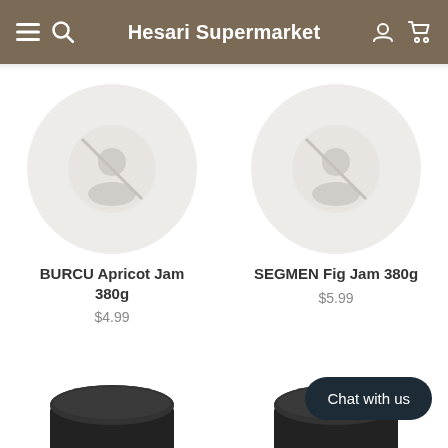Hesari Supermarket
[Figure (photo): Product placeholder image for BURCU Apricot Jam 380g — circular grey placeholder with no-image icon]
BURCU Apricot Jam 380g
$4.99
[Figure (photo): Product placeholder image for SEGMEN Fig Jam 380g — circular grey placeholder with no-image icon]
SEGMEN Fig Jam 380g
$5.99
[Figure (photo): Partial photo of a dark jar lid for BURCU Apricot Jam at bottom left]
[Figure (photo): Partial photo of a dark jar lid for SEGMEN Fig Jam at bottom right]
Chat with us